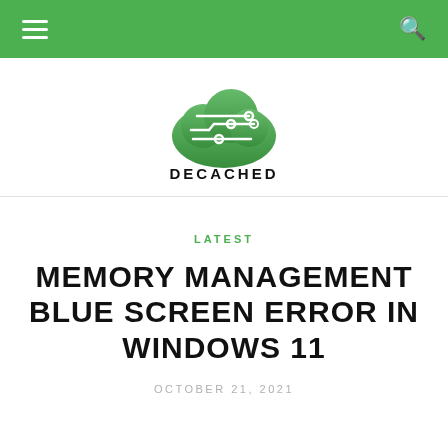DECACHED navigation bar with menu and search icons
[Figure (logo): Decached logo: green cloud with circuit board lines and dots, with text DECACHED below]
LATEST
MEMORY MANAGEMENT BLUE SCREEN ERROR IN WINDOWS 11
OCTOBER 21, 2021